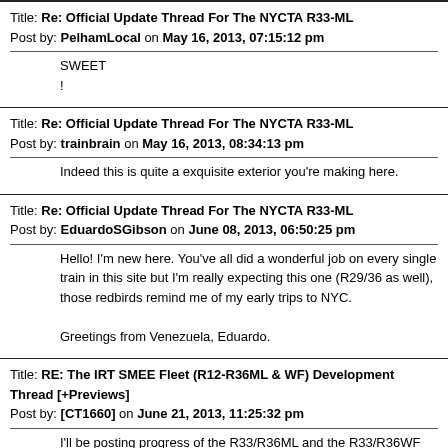Title: Re: Official Update Thread For The NYCTA R33-ML
Post by: PelhamLocal on May 16, 2013, 07:15:12 pm
SWEET
!
Title: Re: Official Update Thread For The NYCTA R33-ML
Post by: trainbrain on May 16, 2013, 08:34:13 pm
Indeed this is quite a exquisite exterior you're making here.
Title: Re: Official Update Thread For The NYCTA R33-ML
Post by: EduardoSGibson on June 08, 2013, 06:50:25 pm
Hello! I'm new here. You've all did a wonderful job on every single train in this site but I'm really expecting this one (R29/36 as well), those redbirds remind me of my early trips to NYC.

Greetings from Venezuela, Eduardo.
Title: RE: The IRT SMEE Fleet (R12-R36ML & WF) Development Thread [+Previews]
Post by: [CT1660] on June 21, 2013, 11:25:32 pm
I'll be posting progress of the R33/R36ML and the R33/R36WF